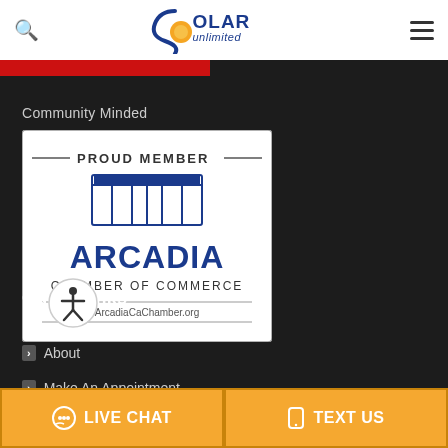Solar Unlimited — site header with search and menu icons
[Figure (logo): Solar Unlimited logo with orange sun and blue text]
[Figure (illustration): Red banner strip below header]
Community Minded
[Figure (logo): Proud Member – Arcadia Chamber of Commerce badge, ArcadiaCaChamber.org]
Quick Links
[Figure (illustration): Accessibility icon (person in circle)]
About
Make An Appointment
LIVE CHAT   TEXT US